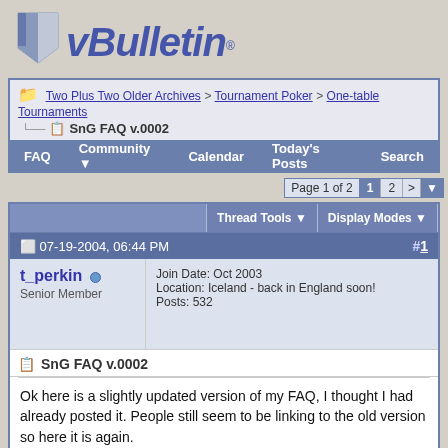[Figure (logo): vBulletin logo with stylized V icon and vBulletin text in blue italic font]
Two Plus Two Older Archives > Tournament Poker > One-table Tournaments
SnG FAQ v.0002
FAQ  Community  Calendar  Today's Posts  Search
Page 1 of 2  1  2  >
Thread Tools  Display Modes
07-19-2004, 06:44 PM  #1
t_perkin
Senior Member
Join Date: Oct 2003
Location: Iceland - back in England soon!
Posts: 532
SnG FAQ v.0002
Ok here is a slightly updated version of my FAQ, I thought I had already posted it. People still seem to be linking to the old version so here it is again.

Enjoy